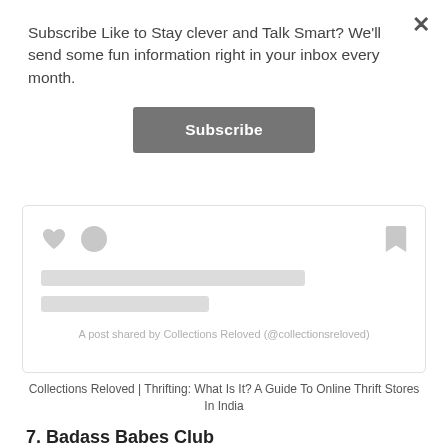Subscribe Like to Stay clever and Talk Smart? We'll send some fun information right in your inbox every month.
Subscribe
[Figure (screenshot): Social media post card placeholder with heart and circle icons, bookmark icon, skeleton loading bars, and caption 'A post shared by Collections Reloved (@collectionsreloved)']
Collections Reloved | Thrifting: What Is It? A Guide To Online Thrift Stores In India
7. Badass Babes Club